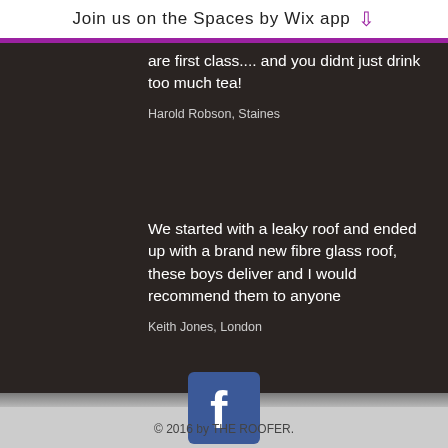Join us on the Spaces by Wix app
are first class.... and you didnt just drink too much tea!
Harold Robson, Staines
We started with a leaky roof and ended up with a brand new fibre glass roof, these boys deliver and I would recommend them to anyone
Keith Jones, London
[Figure (logo): Facebook logo icon, blue square with white 'f']
© 2016 by THE ROOFER.